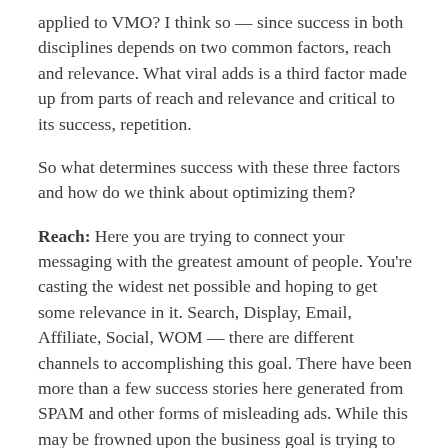applied to VMO? I think so — since success in both disciplines depends on two common factors, reach and relevance. What viral adds is a third factor made up from parts of reach and relevance and critical to its success, repetition.
So what determines success with these three factors and how do we think about optimizing them?
Reach: Here you are trying to connect your messaging with the greatest amount of people. You're casting the widest net possible and hoping to get some relevance in it. Search, Display, Email, Affiliate, Social, WOM — there are different channels to accomplishing this goal. There have been more than a few success stories here generated from SPAM and other forms of misleading ads. While this may be frowned upon the business goal is trying to reach the most people as possible with our